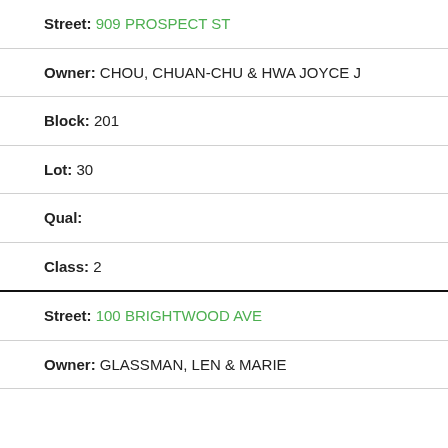Street: 909 PROSPECT ST
Owner: CHOU, CHUAN-CHU & HWA JOYCE J
Block: 201
Lot: 30
Qual:
Class: 2
Street: 100 BRIGHTWOOD AVE
Owner: GLASSMAN, LEN & MARIE